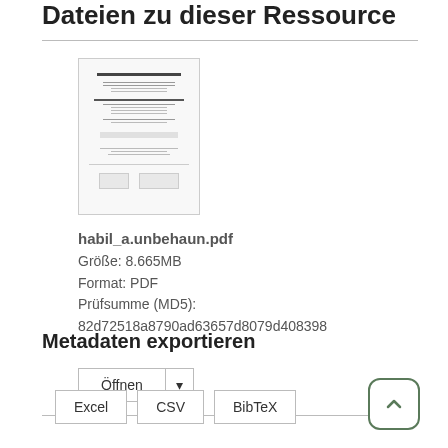Dateien zu dieser Ressource
[Figure (screenshot): Thumbnail preview of a PDF document showing text lines and content]
habil_a.unbehaun.pdf
Größe: 8.665MB
Format: PDF
Prüfsumme (MD5):
82d72518a8790ad63657d8079d408398
Öffnen ▾
Metadaten exportieren
Excel   CSV   BibTeX